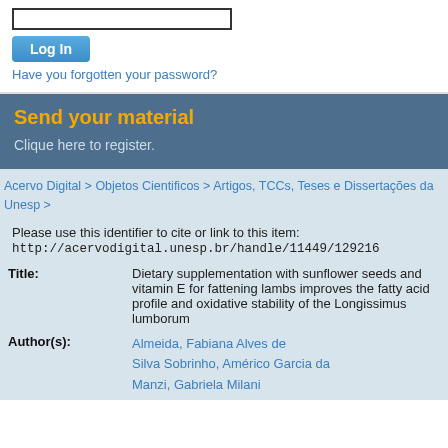[Figure (screenshot): Login form with text input box, Log In button, and forgotten password link]
Send your material
Clique here to register.
Acervo Digital > Objetos Cientificos > Artigos, TCCs, Teses e Dissertações da Unesp >
Please use this identifier to cite or link to this item:
http://acervodigital.unesp.br/handle/11449/129216
| Field | Value |
| --- | --- |
| Title: | Dietary supplementation with sunflower seeds and vitamin E for fattening lambs improves the fatty acid profile and oxidative stability of the Longissimus lumborum |
| Author(s): | Almeida, Fabiana Alves de
Silva Sobrinho, Américo Garcia da
Manzi, Gabriela Milani |